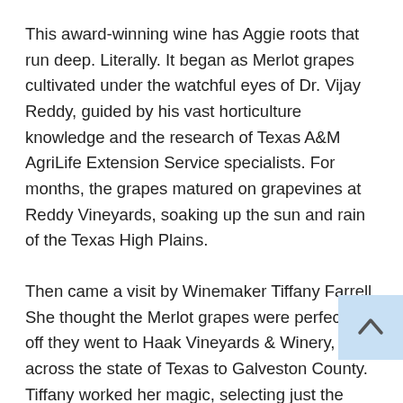This award-winning wine has Aggie roots that run deep. Literally. It began as Merlot grapes cultivated under the watchful eyes of Dr. Vijay Reddy, guided by his vast horticulture knowledge and the research of Texas A&M AgriLife Extension Service specialists. For months, the grapes matured on grapevines at Reddy Vineyards, soaking up the sun and rain of the Texas High Plains.
Then came a visit by Winemaker Tiffany Farrell. She thought the Merlot grapes were perfect and off they went to Haak Vineyards & Winery, across the state of Texas to Galveston County. Tiffany worked her magic, selecting just the right yeast to bring out the berry and plum-like flavors of those perfect Merlot grapes. When the wine was finished, Tiffany selected American oak barrels for the final step. After 14 months, Tiffany pronounced this